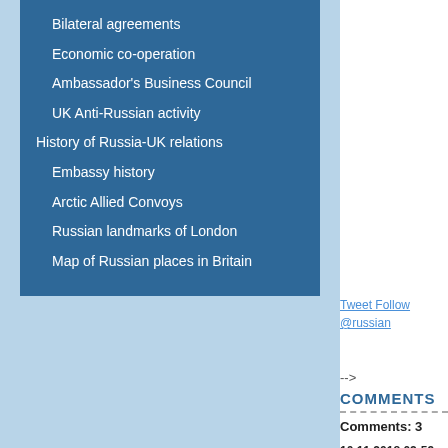Bilateral agreements
Economic co-operation
Ambassador's Business Council
UK Anti-Russian activity
History of Russia-UK relations
Embassy history
Arctic Allied Convoys
Russian landmarks of London
Map of Russian places in Britain
Tweet Follow @russian
-->
COMMENTS
Comments: 3
10.11.2018 02:59 - Richa
Sir or madam With the ar world. May I also add my anniversary please accep